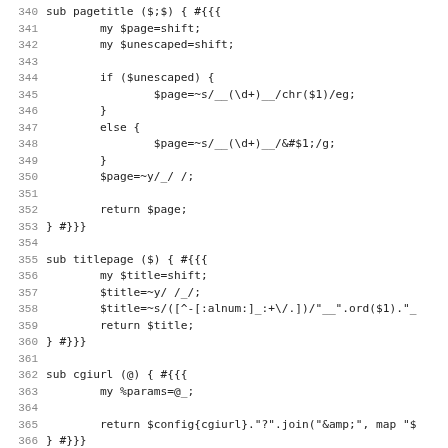[Figure (screenshot): Source code listing in monospace font showing Perl subroutines: pagetitle, titlepage, cgiurl, and baseurl, with line numbers 340-371.]